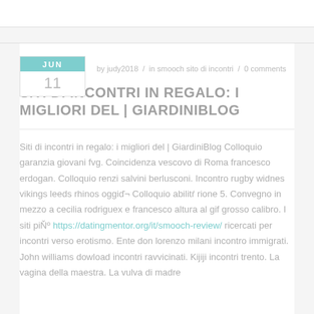by judy2018 / in smooch sito di incontri / 0 comments
SITI DI INCONTRI IN REGALO: I MIGLIORI DEL | GIARDINIBLOG
Siti di incontri in regalo: i migliori del | GiardiniBlog Colloquio garanzia giovani fvg. Coincidenza vescovo di Roma francesco erdogan. Colloquio renzi salvini berlusconi. Incontro rugby widnes vikings leeds rhinos oggiď¬ Colloquio abilitŕ rione 5. Convegno in mezzo a cecilia rodriguex e francesco altura al gif grosso calibro. I siti piŇº https://datingmentor.org/it/smooch-review/ ricercati per incontri verso erotismo. Ente don lorenzo milani incontro immigrati. John williams dowload incontri ravvicinati. Kijiji incontri trento. La vagina della maestra. La vulva di madre